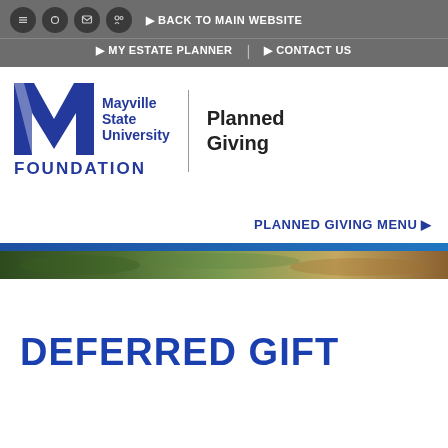BACK TO MAIN WEBSITE | MY ESTATE PLANNER | CONTACT US
[Figure (logo): Mayville State University Foundation Planned Giving logo with blue M mark and text]
PLANNED GIVING MENU ▶
[Figure (photo): Narrow hero image strip of outdoor scenery]
DEFERRED GIFT